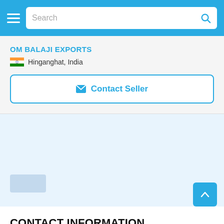Search
OM BALAJI EXPORTS
Hinganghat, India
Contact Seller
CONTACT INFORMATION
The Federation of Indian Export Organisations, Niryat Bhawan, Rao Tula Ram Marg, New Delhi, Delhi, India, 1100057